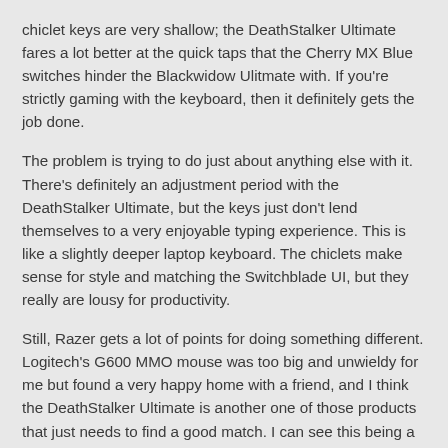chiclet keys are very shallow; the DeathStalker Ultimate fares a lot better at the quick taps that the Cherry MX Blue switches hinder the Blackwidow Ulitmate with. If you're strictly gaming with the keyboard, then it definitely gets the job done.
The problem is trying to do just about anything else with it. There's definitely an adjustment period with the DeathStalker Ultimate, but the keys just don't lend themselves to a very enjoyable typing experience. This is like a slightly deeper laptop keyboard. The chiclets make sense for style and matching the Switchblade UI, but they really are lousy for productivity.
Still, Razer gets a lot of points for doing something different. Logitech's G600 MMO mouse was too big and unwieldy for me but found a very happy home with a friend, and I think the DeathStalker Ultimate is another one of those products that just needs to find a good match. I can see this being a borderline ideal keyboard for some users, and it's entirely possible I'm off base with parts of my assessment. I just can't help but feel that Razer, like Logitech with the G19s, is scratching at the surface of producing the ultimate gaming keyboard but not quite willing to make that jump yet.